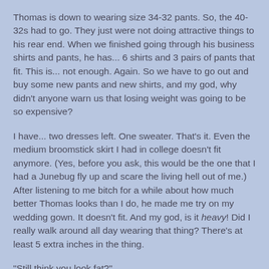Thomas is down to wearing size 34-32 pants. So, the 40-32s had to go. They just were not doing attractive things to his rear end. When we finished going through his business shirts and pants, he has... 6 shirts and 3 pairs of pants that fit. This is... not enough. Again. So we have to go out and buy some new pants and new shirts, and my god, why didn't anyone warn us that losing weight was going to be so expensive?
I have... two dresses left. One sweater. That's it. Even the medium broomstick skirt I had in college doesn't fit anymore. (Yes, before you ask, this would be the one that I had a Junebug fly up and scare the living hell out of me.) After listening to me bitch for a while about how much better Thomas looks than I do, he made me try on my wedding gown. It doesn't fit. And my god, is it heavy! Did I really walk around all day wearing that thing? There's at least 5 extra inches in the thing.
"Still think you look fat?"
"Yes."